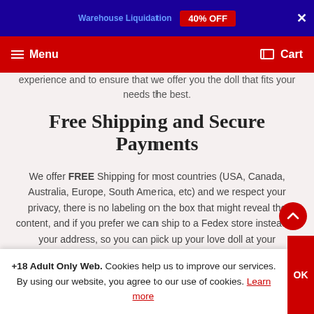Warehouse Liquidation 40% OFF
Menu  Cart
experience and to ensure that we offer you the doll that fits your needs the best.
Free Shipping and Secure Payments
We offer FREE Shipping for most countries (USA, Canada, Australia, Europe, South America, etc) and we respect your privacy, there is no labeling on the box that might reveal the content, and if you prefer we can ship to a Fedex store instead of your address, so you can pick up your love doll at your convenience. We will send you a tracking number once your doll is shipped, and we use Fedex and DHL to speed up shipping and guarantee a safe delivery.
+18 Adult Only Web. Cookies help us to improve our services. By using our website, you agree to our use of cookies. Learn more